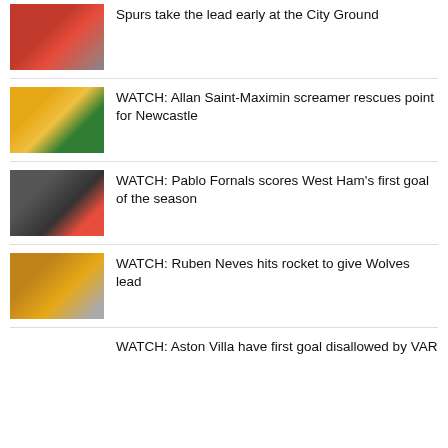Spurs take the lead early at the City Ground
WATCH: Allan Saint-Maximin screamer rescues point for Newcastle
WATCH: Pablo Fornals scores West Ham's first goal of the season
WATCH: Ruben Neves hits rocket to give Wolves lead
WATCH: Aston Villa have first goal disallowed by VAR